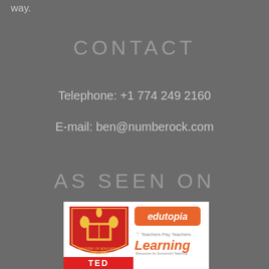way.
CONTACT
Telephone: +1 774 249 2160
E-mail: ben@numberock.com
AS SEEN ON
[Figure (logo): Logos collage: Singapore Ministry of Education shield, Edutopia badge, Teachers Pay Teachers, Learning (resources for successful teaching), TED (partial at bottom)]